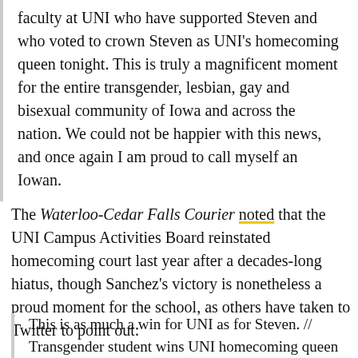faculty at UNI who have supported Steven and who voted to crown Steven as UNI's homecoming queen tonight. This is truly a magnificent moment for the entire transgender, lesbian, gay and bisexual community of Iowa and across the nation. We could not be happier with this news, and once again I am proud to call myself an Iowan.
The Waterloo-Cedar Falls Courier noted that the UNI Campus Activities Board reinstated homecoming court last year after a decades-long hiatus, though Sanchez's victory is nonetheless a proud moment for the school, as others have taken to Twitter to point out:
This is as much a win for UNI as for Steven. // Transgender student wins UNI homecoming queen crown. http://t.co/5IILMlIGAYVS